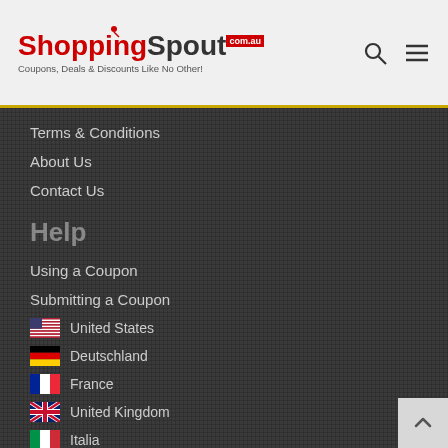[Figure (logo): ShoppingSpout.com.au logo with tagline 'Coupons, Deals & Discounts Like No Other!']
Terms & Conditions
About Us
Contact Us
Help
Using a Coupon
Submitting a Coupon
🇺🇸 United States
🇩🇪 Deutschland
🇫🇷 France
🇬🇧 United Kingdom
🇮🇹 Italia
🇧🇷 Brazil
🇳🇱 Netherlands
🇵🇱 Poland